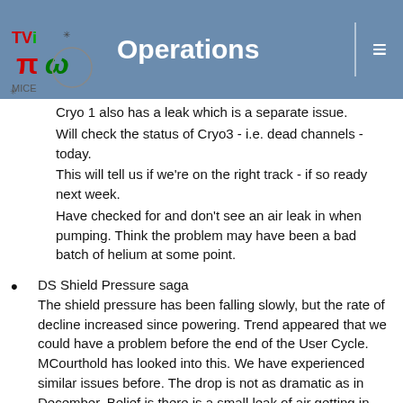Operations
Cryo 1 also has a leak which is a separate issue.
Will check the status of Cryo3 - i.e. dead channels - today.
This will tell us if we're on the right track - if so ready next week.
Have checked for and don't see an air leak in when pumping. Think the problem may have been a bad batch of helium at some point.
DS Shield Pressure saga
The shield pressure has been falling slowly, but the rate of decline increased since powering. Trend appeared that we could have a problem before the end of the User Cycle. MCourthold has looked into this. We have experienced similar issues before. The drop is not as dramatic as in December. Belief is there is a small leak of air getting in. Concern is about T3125 which if it goes too high can release impurities from the cold trap inside the fridge.
Not a concern on the 2-3 week timescale, but we should try cleaning the fridge gas in June to confirm we understand the issue.
Hydrogen system update
Mods to second turret underway in R9 - spurious pipework removed, pressure measurement spigot by the end of the week. This to get to be installed ASAP in June after running H2...